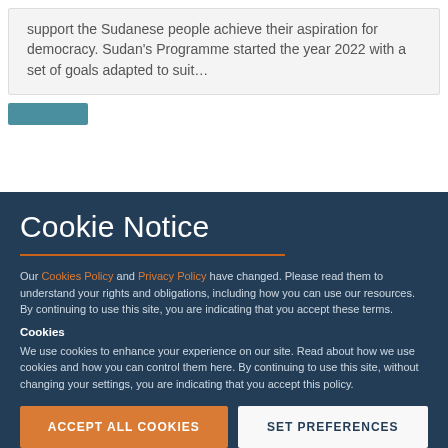support the Sudanese people achieve their aspiration for democracy. Sudan's Programme started the year 2022 with a set of goals adapted to suit…
Cookie Notice
Our Cookies Policy and Privacy Policy have changed. Please read them to understand your rights and obligations, including how you can use our resources. By continuing to use this site, you are indicating that you accept these terms.
Cookies
We use cookies to enhance your experience on our site. Read about how we use cookies and how you can control them here. By continuing to use this site, without changing your settings, you are indicating that you accept this policy.